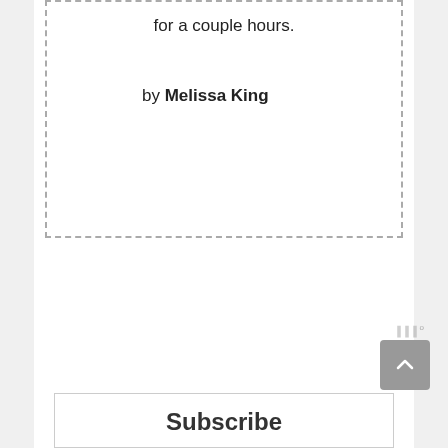for a couple hours.
by Melissa King
Subscribe